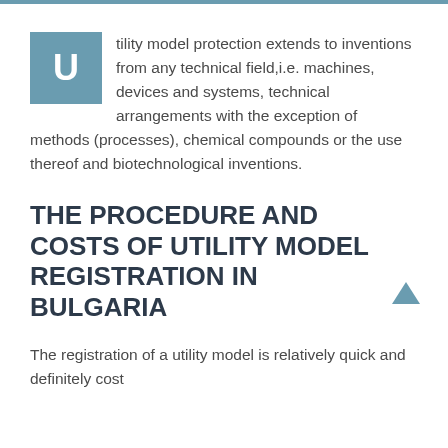Utility model protection extends to inventions from any technical field,i.e. machines, devices and systems, technical arrangements with the exception of methods (processes), chemical compounds or the use thereof and biotechnological inventions.
THE PROCEDURE AND COSTS OF UTILITY MODEL REGISTRATION IN BULGARIA
The registration of a utility model is relatively quick and definitely cost